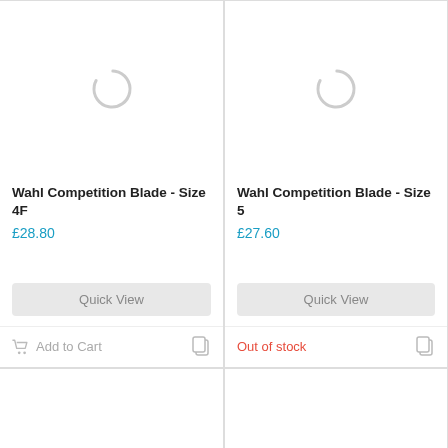[Figure (screenshot): Loading spinner (partial circle) for product image placeholder]
Wahl Competition Blade - Size 4F
£28.80
Quick View
Add to Cart
[Figure (screenshot): Loading spinner (partial circle) for product image placeholder]
Wahl Competition Blade - Size 5
£27.60
Quick View
Out of stock